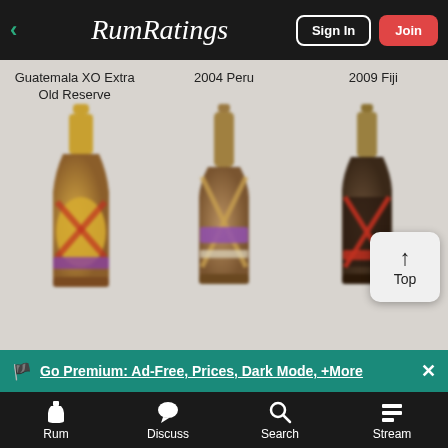RumRatings — Sign In | Join
Guatemala XO Extra Old Reserve
2004 Peru
2009 Fiji
[Figure (photo): Three rum bottles displayed: Guatemala XO Extra Old Reserve (ornate gold/red label), 2004 Peru (geometric X-pattern label with purple band), 2009 Fiji (dark bottle with X-pattern label)]
↑ Top
🏴 Go Premium: Ad-Free, Prices, Dark Mode, +More ✕
Rum | Discuss | Search | Stream